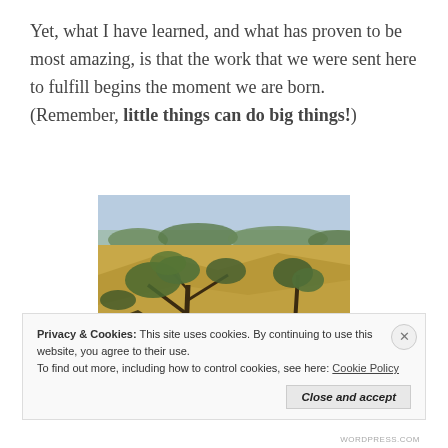Yet, what I have learned, and what has proven to be most amazing, is that the work that we were sent here to fulfill begins the moment we are born. (Remember, little things can do big things!)
[Figure (photo): Outdoor landscape photo showing scrubby trees and dry golden grass on a hillside, with a blue hazy valley visible in the background. The scene is sunlit with shadows cast across the dry terrain.]
Privacy & Cookies: This site uses cookies. By continuing to use this website, you agree to their use.
To find out more, including how to control cookies, see here: Cookie Policy
Close and accept